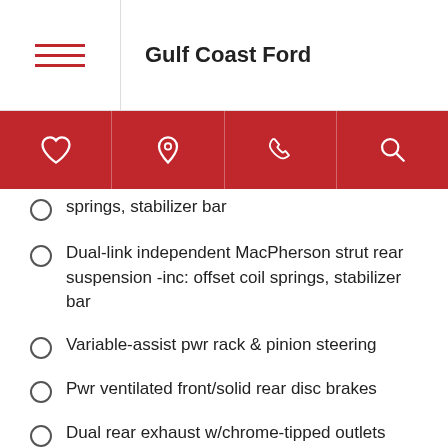Gulf Coast Ford
springs, stabilizer bar
Dual-link independent MacPherson strut rear suspension -inc: offset coil springs, stabilizer bar
Variable-assist pwr rack & pinion steering
Pwr ventilated front/solid rear disc brakes
Dual rear exhaust w/chrome-tipped outlets
EXTERIOR
P215/55R17 all-season tires
Full size spare tire w/alloy wheel